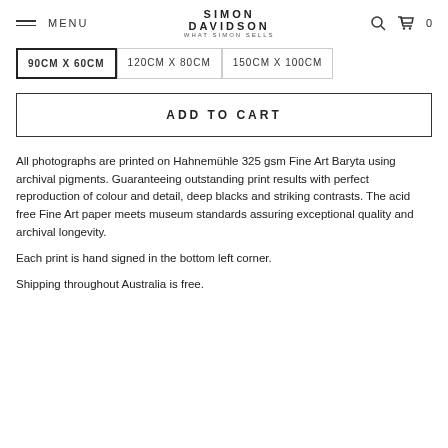MENU | SIMON DAVIDSON WHAT SIMON SELLS | 0
90CM X 60CM
120CM X 80CM
150CM X 100CM
ADD TO CART
All photographs are printed on Hahnemühle 325 gsm Fine Art Baryta using archival pigments. Guaranteeing outstanding print results with perfect reproduction of colour and detail, deep blacks and striking contrasts. The acid free Fine Art paper meets museum standards assuring exceptional quality and archival longevity.
Each print is hand signed in the bottom left corner.
Shipping throughout Australia is free.